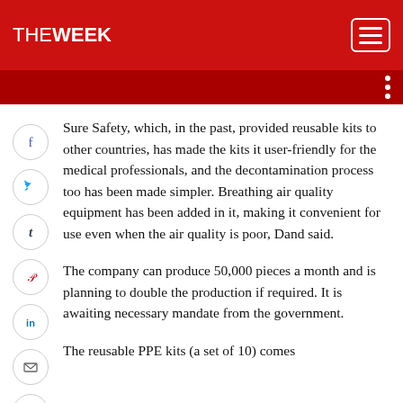THE WEEK
Sure Safety, which, in the past, provided reusable kits to other countries, has made the kits it user-friendly for the medical professionals, and the decontamination process too has been made simpler. Breathing air quality equipment has been added in it, making it convenient for use even when the air quality is poor, Dand said.
The company can produce 50,000 pieces a month and is planning to double the production if required. It is awaiting necessary mandate from the government.
The reusable PPE kits (a set of 10) comes